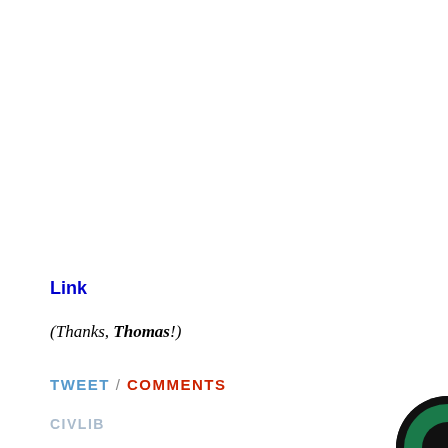Link
(Thanks, Thomas!)
TWEET / COMMENTS
CIVLIB
[Figure (logo): Partial circular logo with black and green segments visible at bottom right corner]